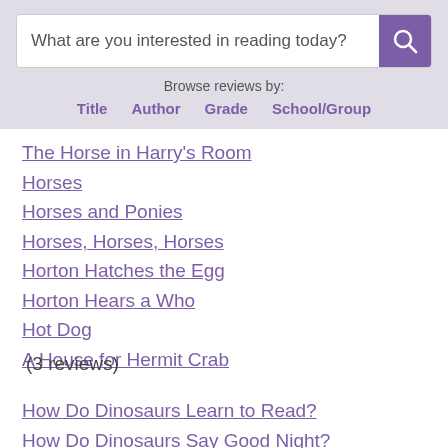What are you interested in reading today?
Browse reviews by:
Title  Author  Grade  School/Group
The Horse in Harry's Room
Horses
Horses and Ponies
Horses, Horses, Horses
Horton Hatches the Egg
Horton Hears a Who
Hot Dog
A House for Hermit Crab (3 reviews)
How Do Dinosaurs Learn to Read?
How Do Dinosaurs Say Good Night?
How Kittens Grow
How Many Veggies?
How to Catch a Star
How to Help the Earth
How to Catch a Star (partial)